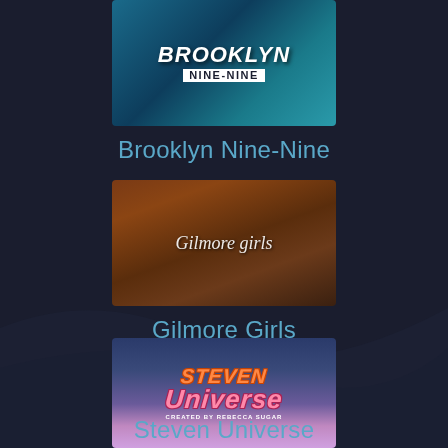[Figure (screenshot): Brooklyn Nine-Nine TV show thumbnail with blue teal background and bold white text logo]
Brooklyn Nine-Nine
[Figure (screenshot): Gilmore Girls TV show thumbnail with warm autumn aerial town scene and italic white text logo]
Gilmore Girls
[Figure (screenshot): Steven Universe animated show thumbnail with colorful cartoon logo on purple/blue night sky background with animated characters]
Steven Universe